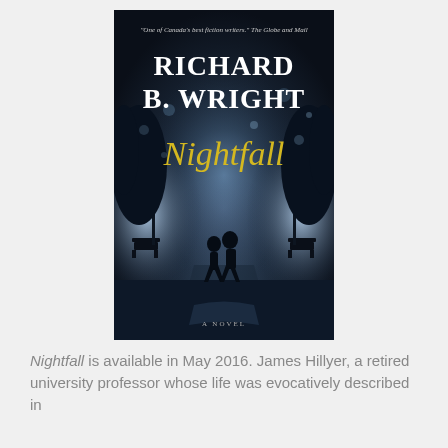[Figure (illustration): Book cover of 'Nightfall' by Richard B. Wright. Dark atmospheric cover showing two silhouetted figures walking away down a misty park alley at night with bright lights in the background. The author's name 'RICHARD B. WRIGHT' appears in large white serif text at the top, 'Nightfall' in large yellow-gold italic script in the middle, with a quote 'One of Canada's best fiction writers. The Globe and Mail' at the very top, and 'A NOVEL' at the bottom.]
Nightfall is available in May 2016. James Hillyer, a retired university professor whose life was evocatively described in